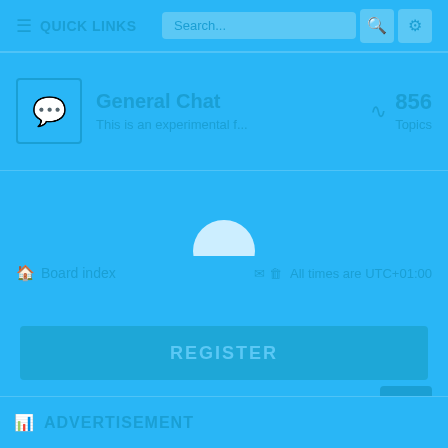≡ QUICK LINKS | Search... 🔍 ⚙
General Chat
This is an experimental f...
856
Topics
[Figure (infographic): Loading spinner circle overlay in center of page]
🏠 Board index     ✉ 🗑  All times are UTC+01:00
REGISTER
↑
📊 ADVERTISEMENT